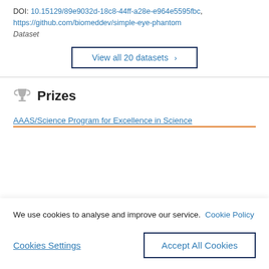DOI: 10.15129/89e9032d-18c8-44ff-a28e-e964e5595fbc, https://github.com/biomeddev/simple-eye-phantom
Dataset
View all 20 datasets ›
Prizes
AAAS/Science Program for Excellence in Science
We use cookies to analyse and improve our service. Cookie Policy
Cookies Settings
Accept All Cookies